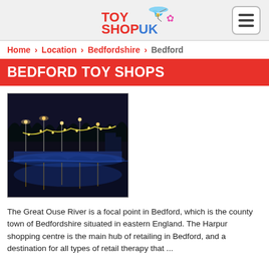TOY SHOP UK [logo with helicopter icon] [hamburger menu]
Home > Location > Bedfordshire > Bedford
BEDFORD TOY SHOPS
[Figure (photo): Night photo of the Great Ouse River in Bedford showing a bridge lit in blue, street lamps reflecting in the water, and festive lights along the riverbank.]
The Great Ouse River is a focal point in Bedford, which is the county town of Bedfordshire situated in eastern England. The Harpur shopping centre is the main hub of retailing in Bedford, and a destination for all types of retail therapy that ...